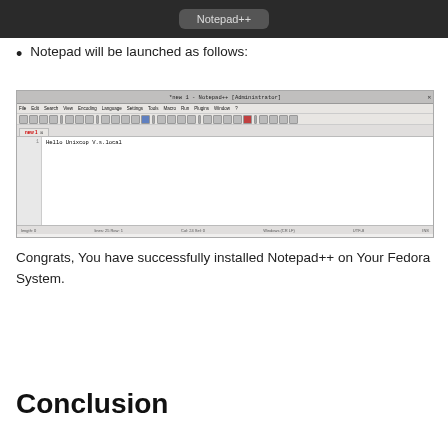[Figure (screenshot): Top portion of a dark screenshot showing Notepad++ application icon label]
Notepad will be launched as follows:
[Figure (screenshot): Screenshot of Notepad++ opened as Administrator with text 'Hello Unixcop V.s.local' in the editor area]
Congrats, You have successfully installed Notepad++ on Your Fedora System.
Conclusion